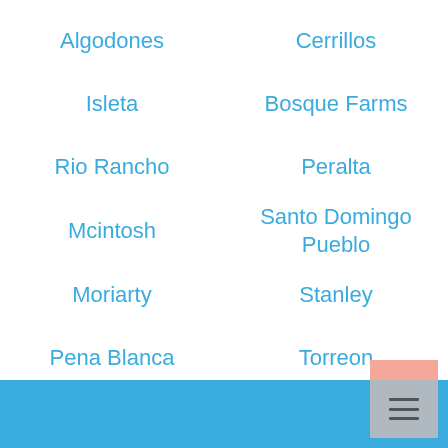Algodones
Cerrillos
Isleta
Bosque Farms
Rio Rancho
Peralta
Mcintosh
Santo Domingo Pueblo
Moriarty
Stanley
Pena Blanca
Torreon